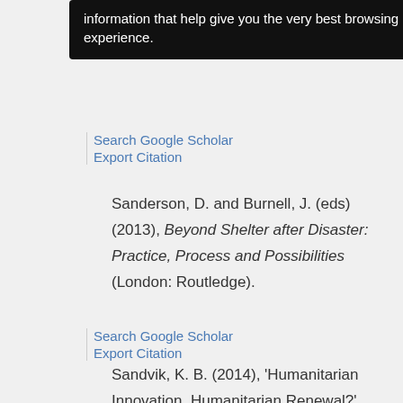[Figure (screenshot): Browser tooltip/cookie consent overlay showing text: 'information that help give you the very best browsing experience.']
Sanderson, D. and Burnell, J. (eds) (2013), Beyond Shelter after Disaster: Practice, Process and Possibilities (London: Routledge).
Search Google Scholar
Export Citation
Sandvik, K. B. (2014), 'Humanitarian Innovation, Humanitarian Renewal?', Forced Migration Review, 47:S, 25–7.
Search Google Scholar
Export Citation